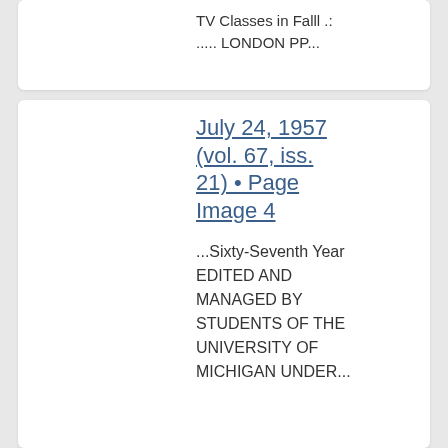TV Classes in Falll .: ..... LONDON PP...
July 24, 1957 (vol. 67, iss. 21) • Page Image 4
...Sixty-Seventh Year EDITED AND MANAGED BY STUDENTS OF THE UNIVERSITY OF MICHIGAN UNDER...
July 24, (vol. 67, iss.